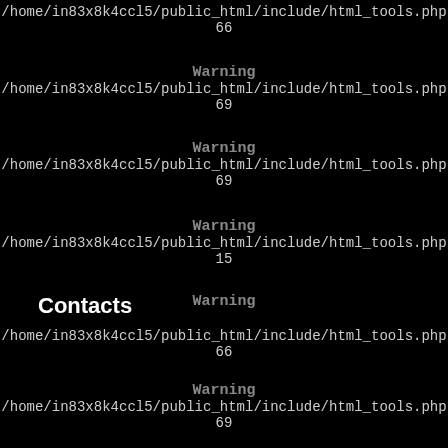/home/in83x8k4ccl5/public_html/include/html_tools.php
66
Warning
/home/in83x8k4ccl5/public_html/include/html_tools.php
69
Warning
/home/in83x8k4ccl5/public_html/include/html_tools.php
69
Warning
/home/in83x8k4ccl5/public_html/include/html_tools.php
15
Warning
Contacts
/home/in83x8k4ccl5/public_html/include/html_tools.php
66
Warning
/home/in83x8k4ccl5/public_html/include/html_tools.php
69